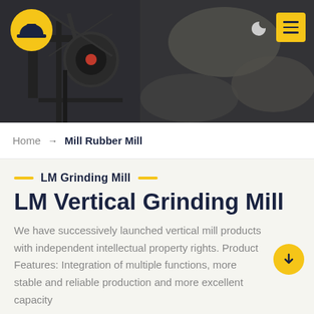[Figure (photo): Dark industrial mining/crushing facility header image with machinery and rock crusher equipment visible]
Home → Mill Rubber Mill
LM Grinding Mill
LM Vertical Grinding Mill
We have successively launched vertical mill products with independent intellectual property rights. Product Features: Integration of multiple functions, more stable and reliable production and more excellent capacity